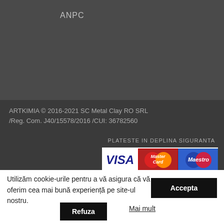ANPC
ARTKIMIA © 2016-2021 SC Metal Clay RO SRL /Reg. Com. J40/15578/2016 /CUI: 36782560
PLATESTE IN DEPLINA SIGURANTA
[Figure (logo): Payment logos: VISA, MasterCard, Maestro]
Utilizăm cookie-urile pentru a vă asigura că vă oferim cea mai bună experiență pe site-ul nostru.
Accepta
Refuza
Mai mult